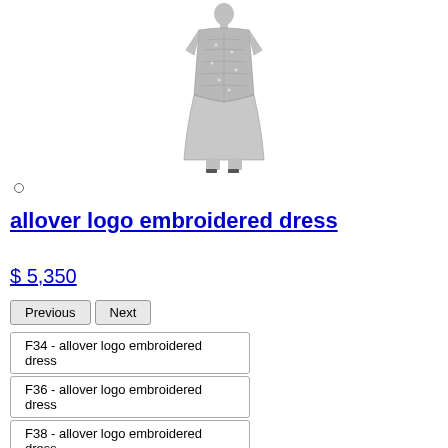[Figure (photo): Back view of a model wearing a silver/metallic allover logo embroidered dress, full body shot on white background]
allover logo embroidered dress
$ 5,350
Previous | Next
F34 - allover logo embroidered dress
F36 - allover logo embroidered dress
F38 - allover logo embroidered dress